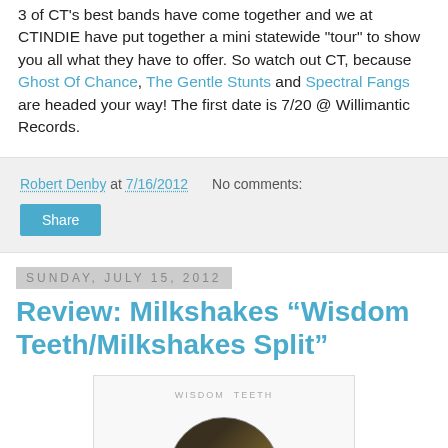3 of CT's best bands have come together and we at CTINDIE have put together a mini statewide "tour" to show you all what they have to offer. So watch out CT, because Ghost Of Chance, The Gentle Stunts and Spectral Fangs are headed your way! The first date is 7/20 @ Willimantic Records.
Robert Denby at 7/16/2012   No comments:
Share
Sunday, July 15, 2012
Review: Milkshakes “Wisdom Teeth/Milkshakes Split”
[Figure (photo): Album art for Wisdom Teeth/Milkshakes Split showing the text 'WISDOM TEETH' at top and a circular vinyl record image below on a white background.]